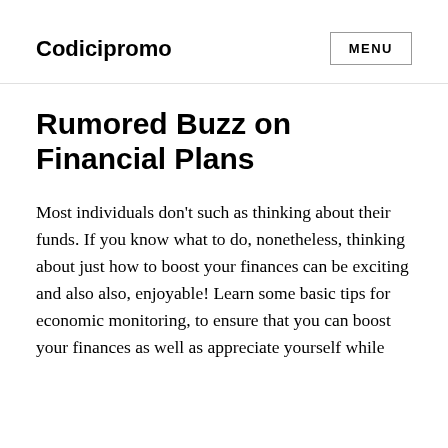Codicipromo
Rumored Buzz on Financial Plans
Most individuals don’t such as thinking about their funds. If you know what to do, nonetheless, thinking about just how to boost your finances can be exciting and also also, enjoyable! Learn some basic tips for economic monitoring, to ensure that you can boost your finances as well as appreciate yourself while